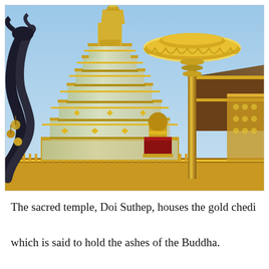[Figure (photo): Photograph of Doi Suthep temple in Thailand showing the golden chedi (stupa) with tiered gold-and-white layers, ornate golden decorations, a ceremonial umbrella (chattra) on a tall golden pole to the right, dark Naga serpent figures on the left, and a bright blue sky in the background.]
The sacred temple, Doi Suthep, houses the gold chedi which is said to hold the ashes of the Buddha.